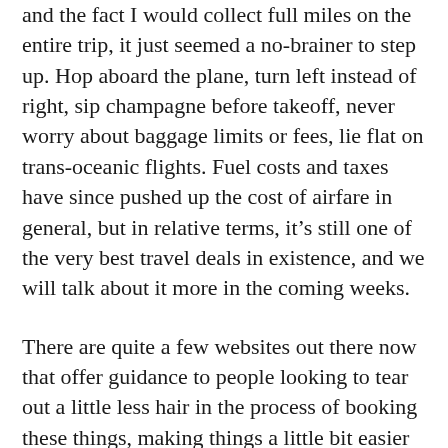and the fact I would collect full miles on the entire trip, it just seemed a no-brainer to step up. Hop aboard the plane, turn left instead of right, sip champagne before takeoff, never worry about baggage limits or fees, lie flat on trans-oceanic flights. Fuel costs and taxes have since pushed up the cost of airfare in general, but in relative terms, it’s still one of the very best travel deals in existence, and we will talk about it more in the coming weeks.
There are quite a few websites out there now that offer guidance to people looking to tear out a little less hair in the process of booking these things, making things a little bit easier for the newbie. But for now, I want to ask you– have you ever taken a